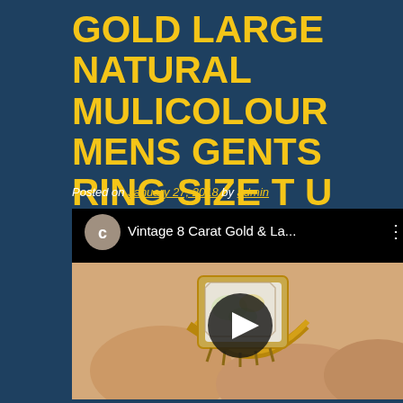GOLD LARGE NATURAL MULICOLOUR MENS GENTS RING SIZE T U
Posted on January 27, 2018 by admin
[Figure (screenshot): YouTube video thumbnail showing a vintage 8 carat gold and large opal/multicolour gemstone men's ring being held by fingers, with video player controls including a circular channel icon labeled 'C', video title 'Vintage 8 Carat Gold & La...' and a play button overlay.]